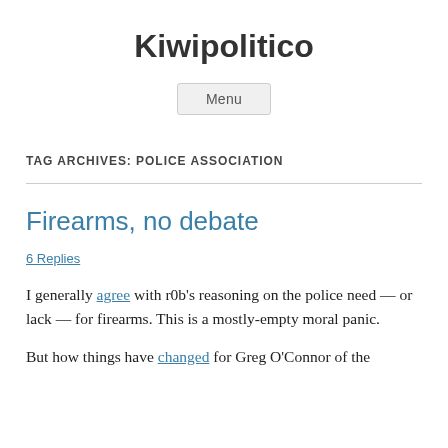Kiwipolitico
Menu
TAG ARCHIVES: POLICE ASSOCIATION
Firearms, no debate
6 Replies
I generally agree with r0b's reasoning on the police need — or lack — for firearms. This is a mostly-empty moral panic.
But how things have changed for Greg O'Connor of the